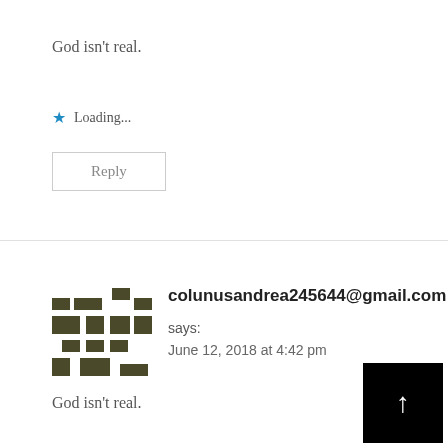God isn't real.
★ Loading...
Reply
[Figure (illustration): Pixelated avatar icon in dark olive/green color, representing a blocky mosaic user avatar]
colunusandrea245644@gmail.com says: June 12, 2018 at 4:42 pm
God isn't real.